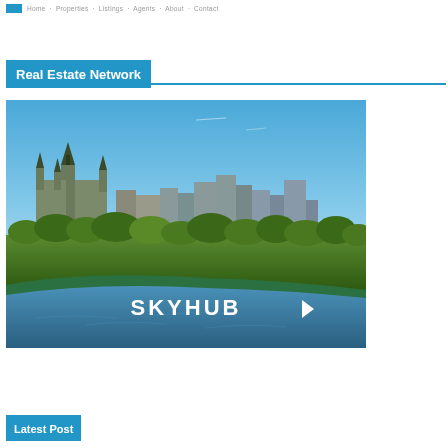Real Estate Network navigation breadcrumb
Real Estate Network
[Figure (photo): Aerial photo of Ottawa Parliament Hill and the Ottawa River with the SKYHUB logo overlaid in white text]
Latest Post